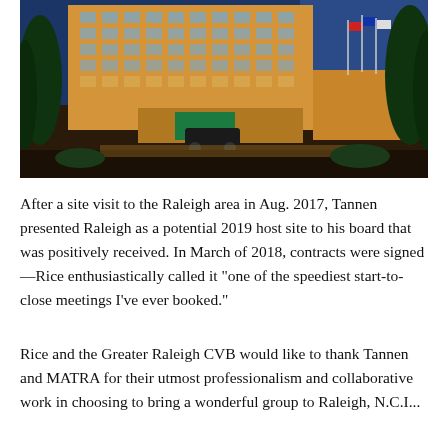[Figure (photo): Exterior night photo of a hotel building in Raleigh area. Large multi-story tan/orange hotel building lit up at night with a blue sky background, trees on either side, a covered entrance canopy, flags visible on the right side, and a vehicle parked near the entrance.]
After a site visit to the Raleigh area in Aug. 2017, Tannen presented Raleigh as a potential 2019 host site to his board that was positively received. In March of 2018, contracts were signed—Rice enthusiastically called it "one of the speediest start-to-close meetings I've ever booked."
Rice and the Greater Raleigh CVB would like to thank Tannen and MATRA for their utmost professionalism and collaborative work in choosing to bring a wonderful group to Raleigh, N.C.I...